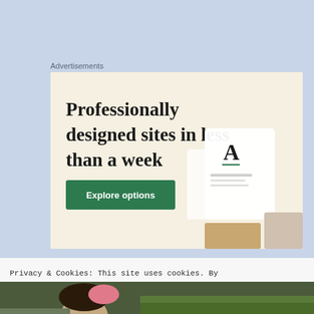Advertisements
[Figure (screenshot): Advertisement banner with cream/beige background showing headline 'Professionally designed sites in less than a week' with a green 'Explore options' button and website mockup images on the right side]
Privacy & Cookies: This site uses cookies. By continuing to use this website, you agree to their use. To find out more, including how to control cookies, see here: Cookie Policy
Close and accept
[Figure (photo): Partial photo at bottom showing a person's face and a pink hat, on a green background]